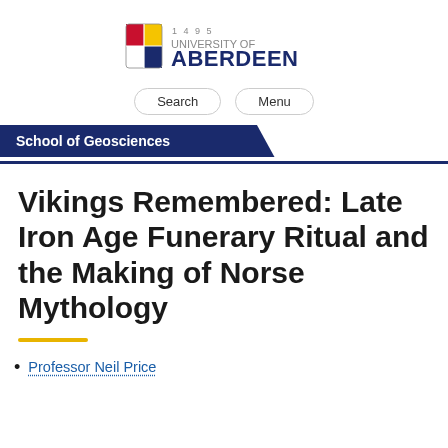[Figure (logo): University of Aberdeen logo with shield crest and text '1495 UNIVERSITY OF ABERDEEN']
Search | Menu
School of Geosciences
Vikings Remembered: Late Iron Age Funerary Ritual and the Making of Norse Mythology
Professor Neil Price